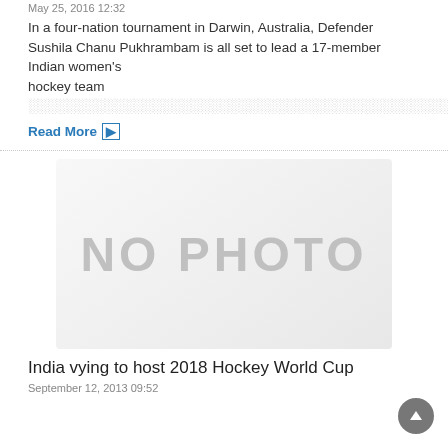May 25, 2016 12:32
In a four-nation tournament in Darwin, Australia, Defender Sushila Chanu Pukhrambam is all set to lead a 17-member Indian women's hockey team...
Read More
[Figure (photo): Placeholder image with NO PHOTO text on a light grey gradient background]
India vying to host 2018 Hockey World Cup
September 12, 2013 09:52